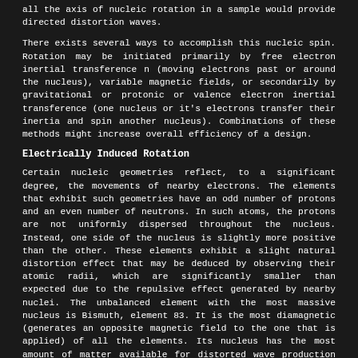all the axis of nucleic rotation in a sample would provide directed distortion waves.
There exists several ways to accomplish this nucleic spin. Rotation may be initiated primarily by free electron inertial transference n (moving electrons past or around the nucleus), variable magnetic fields, or secondarily by gravitational or protonic or valence electron inertial transference (one nucleus or it's electrons transfer their inertia and spin another nucleus). Combinations of these methods might increase overall efficiency of a design.
Electrically Induced Rotation
Certain nucleic geometries reflect, to a significant degree, the movements of nearby electrons. The elements that exhibit such geometries have an odd number of protons and an even number of neutrons. In such atoms, the protons are not uniformly dispersed throughout the nucleus. Instead, one side of the nucleus is slightly more positive than the other. These elements exhibit a slight natural distortion effect that may be deduced by observing their atomic radii, which are significantly smaller than expected due to the repulsive effect generated by nearby nuclei. The unbalanced element with the most massive nucleus is Bismuth, element 83. It is the most diamagnetic (generates an opposite magnetic field to the one that is applied) of all the elements. Its nucleus has the most amount of matter available for distorted wave production and also has the strongest inter-nucleic attractive forces, which allow it the highest maximum spin rate of all the unbalanced nuclei. These factors combine to make Bismuth the obvious choice for electro-repulsive experiments. A stable element 115 would be better than Bismuth